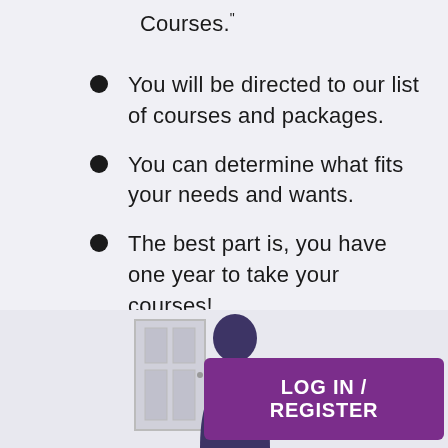Courses."
You will be directed to our list of courses and packages.
You can determine what fits your needs and wants.
The best part is, you have one year to take your courses!
[Figure (illustration): Bottom section showing a person silhouette with a door graphic and a purple LOG IN / REGISTER button]
LOG IN / REGISTER